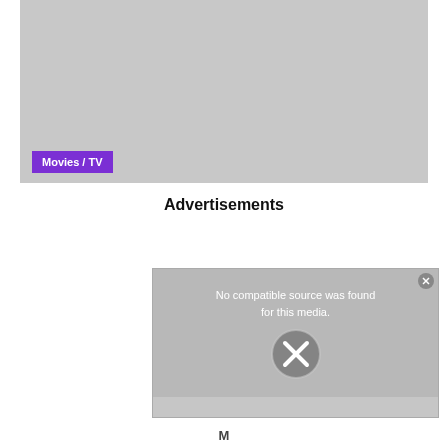[Figure (screenshot): Gray image placeholder area with a 'Movies / TV' purple badge label in the bottom-left corner]
Advertisements
[Figure (screenshot): Video player showing 'No compatible source was found for this media.' with an X icon in the center and a close button in the top right]
M